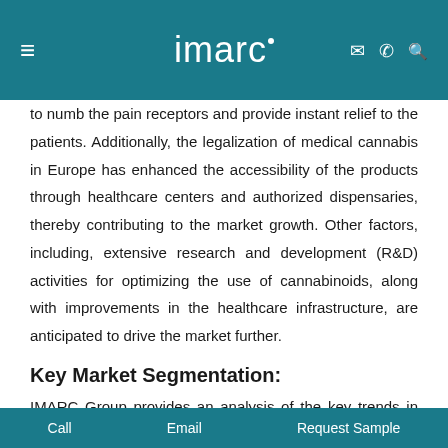imarc
to numb the pain receptors and provide instant relief to the patients. Additionally, the legalization of medical cannabis in Europe has enhanced the accessibility of the products through healthcare centers and authorized dispensaries, thereby contributing to the market growth. Other factors, including, extensive research and development (R&D) activities for optimizing the use of cannabinoids, along with improvements in the healthcare infrastructure, are anticipated to drive the market further.
Key Market Segmentation:
IMARC Group provides an analysis of the key trends in each sub-segment of the Europe medical cannabis market, along with
Call   Email   Request Sample